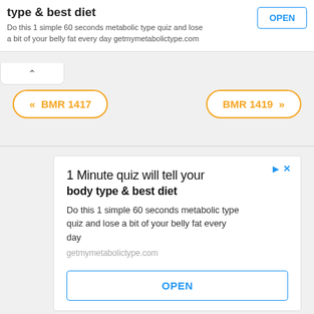[Figure (screenshot): Top advertisement banner with bold title 'type & best diet', description text, and blue OPEN button]
[Figure (screenshot): Chevron up arrow collapse tab below top banner]
[Figure (screenshot): Navigation buttons: BMR 1417 (previous) and BMR 1419 (next) in orange rounded borders]
[Figure (screenshot): Main advertisement card: '1 Minute quiz will tell your body type & best diet', description, getmymetabolictype.com URL, and OPEN button]